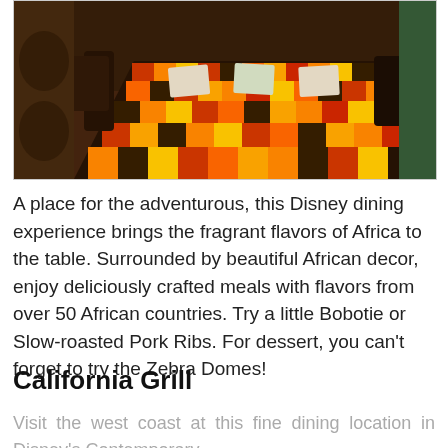[Figure (photo): Interior of an African-themed restaurant showing a long table with colorful patchwork African-print tablecloth in red, orange, yellow, and brown tones. Dark wooden chairs are visible, and the restaurant has warm atmospheric lighting.]
A place for the adventurous, this Disney dining experience brings the fragrant flavors of Africa to the table. Surrounded by beautiful African decor, enjoy deliciously crafted meals with flavors from over 50 African countries. Try a little Bobotie or Slow-roasted Pork Ribs. For dessert, you can't forget to try the Zebra Domes!
California Grill
Visit the west coast at this fine dining location in Disney's Contemporary